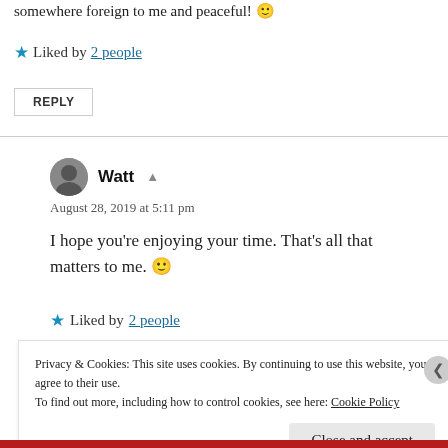somewhere foreign to me and peaceful! 🙂
★ Liked by 2 people
REPLY
Watt
August 28, 2019 at 5:11 pm
I hope you're enjoying your time. That's all that matters to me. 🙂
★ Liked by 2 people
Privacy & Cookies: This site uses cookies. By continuing to use this website, you agree to their use.
To find out more, including how to control cookies, see here: Cookie Policy
Close and accept